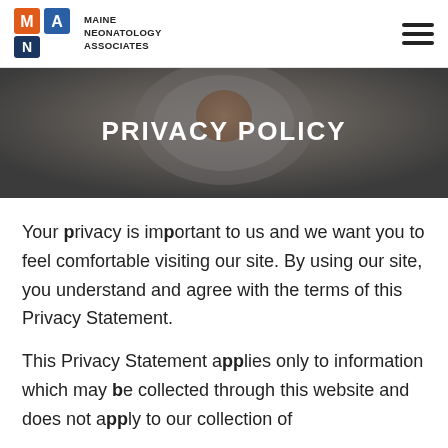MAINE NEONATOLOGY ASSOCIATES
[Figure (illustration): Hero banner photo of a newborn baby in a medical incubator, overlaid with dark tint]
PRIVACY POLICY
Your privacy is important to us and we want you to feel comfortable visiting our site. By using our site, you understand and agree with the terms of this Privacy Statement.
This Privacy Statement applies only to information which may be collected through this website and does not apply to our collection of